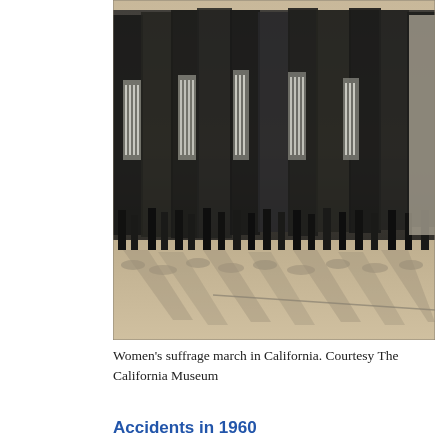[Figure (photo): Black and white historical photograph of women's suffrage march in California. A crowd of women in long coats and dresses are shown marching in a line, many holding American flags. The photo has a sepia tone and shows shadows cast on the street.]
Women's suffrage march in California. Courtesy The California Museum
Accidents in 1960